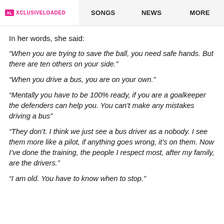XL XCLUSIVELOADED   SONGS   NEWS   MORE
In her words, she said:
“When you are trying to save the ball, you need safe hands. But there are ten others on your side.”
“When you drive a bus, you are on your own.”
“Mentally you have to be 100% ready, if you are a goalkeeper the defenders can help you. You can’t make any mistakes driving a bus”
“They don’t. I think we just see a bus driver as a nobody. I see them more like a pilot, if anything goes wrong, it’s on them. Now I’ve done the training, the people I respect most, after my family, are the drivers.”
“I am old. You have to know when to stop.”